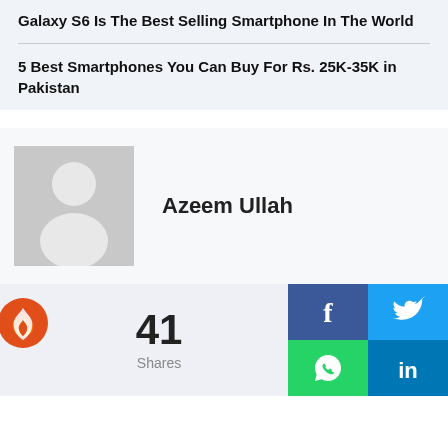Galaxy S6 Is The Best Selling Smartphone In The World
5 Best Smartphones You Can Buy For Rs. 25K-35K in Pakistan
Azeem Ullah
41 Shares